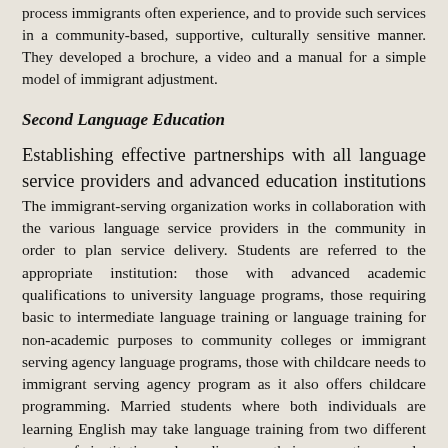process immigrants often experience, and to provide such services in a community-based, supportive, culturally sensitive manner. They developed a brochure, a video and a manual for a simple model of immigrant adjustment.
Second Language Education
Establishing effective partnerships with all language service providers and advanced education institutions The immigrant-serving organization works in collaboration with the various language service providers in the community in order to plan service delivery. Students are referred to the appropriate institution: those with advanced academic qualifications to university language programs, those requiring basic to intermediate language training or language training for non-academic purposes to community colleges or immigrant serving agency language programs, those with childcare needs to immigrant serving agency program as it also offers childcare programming. Married students where both individuals are learning English may take language training from two different types of institutions depending on their respective needs. Institutions also consider issues such as ethnic conflicts within the country of origin when placing students from these areas. All collaborating institutions agree on accreditation of staff and